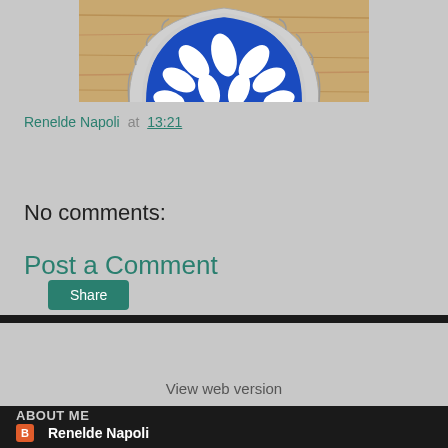[Figure (photo): Partial view of a decorative brooch or medallion with blue and white enamel pattern in a silver serrated frame, resting on a wooden surface. Only the bottom half of the circular piece is visible.]
Renelde Napoli at 13:21
Share
No comments:
Post a Comment
Home
›
View web version
ABOUT ME
Renelde Napoli